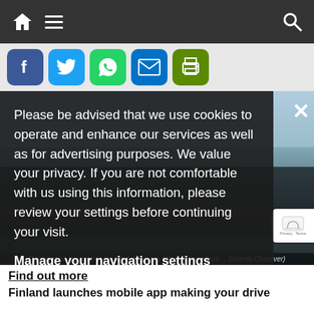Navigation bar with home icon, hamburger menu, and search icon
[Figure (screenshot): Social sharing buttons: Facebook, Twitter, WhatsApp, Email, Print]
[Figure (photo): Reindeer on the road in Lapland, partially visible behind cookie consent overlay]
Please be advised that we use cookies to operate and enhance our services as well as for advertising purposes. We value your privacy. If you are not comfortable with us using this information, please review your settings before continuing your visit.
Manage your navigation settings
Reindeer on the road in Lapland. (Thomas Nilsen/The Independent Barents Observer)
Find out more
Finland launches mobile app making your drive